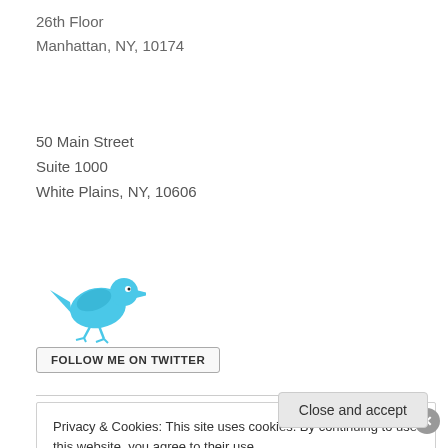26th Floor
Manhattan, NY, 10174
50 Main Street
Suite 1000
White Plains, NY, 10606
[Figure (logo): Twitter bird logo above a 'FOLLOW ME ON TWITTER' button]
Privacy & Cookies: This site uses cookies. By continuing to use this website, you agree to their use.
To find out more, including how to control cookies, see here: Cookie Policy
Close and accept